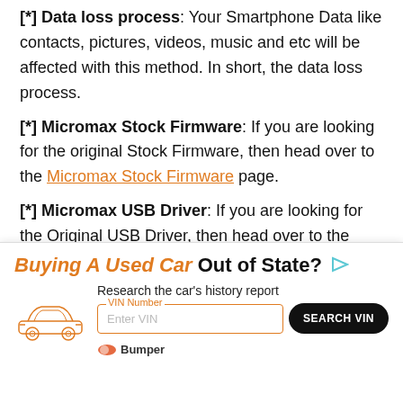[*] Data loss process: Your Smartphone Data like contacts, pictures, videos, music and etc will be affected with this method. In short, the data loss process.
[*] Micromax Stock Firmware: If you are looking for the original Stock Firmware, then head over to the Micromax Stock Firmware page.
[*] Micromax USB Driver: If you are looking for the Original USB Driver, then head over to the Download Micromax USB Driver page.
[*] Credits: Big thanks to vishal_androidfreak for th... sn... w...
[Figure (infographic): Advertisement overlay: 'Buying A Used Car Out of State?' with Bumper branding, car illustration, VIN number input field, and Search VIN button.]